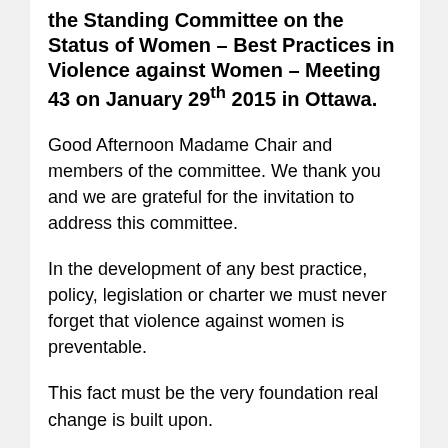the Standing Committee on the Status of Women – Best Practices in Violence against Women – Meeting 43 on January 29th 2015 in Ottawa.
Good Afternoon Madame Chair and members of the committee. We thank you and we are grateful for the invitation to address this committee.
In the development of any best practice, policy, legislation or charter we must never forget that violence against women is preventable.
This fact must be the very foundation real change is built upon.
Great women, doing great work have spoken before this committee. Best practice, new and emerging programs,